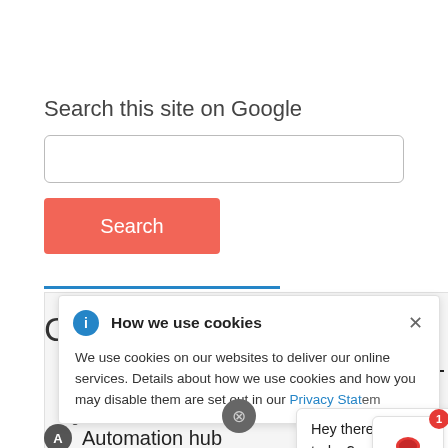Search this site on Google
[Figure (screenshot): Search input box (empty text field with rounded border)]
[Figure (screenshot): Red 'Search' button]
[Figure (screenshot): Cookie consent popup overlay with title 'How we use cookies', info icon, close X, body text about cookies and Privacy Statement link, and a chat bubble saying 'Hey there. What can I help you with today?' with a Red Hat chatbot icon with badge showing 1]
Automation hub